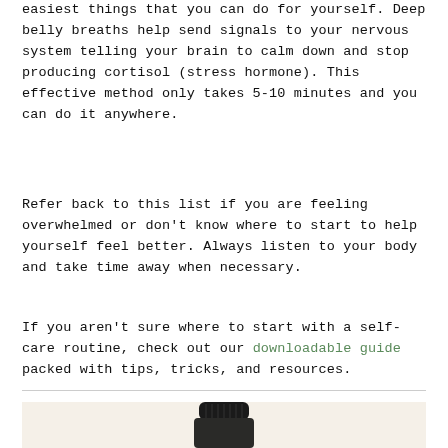easiest things that you can do for yourself. Deep belly breaths help send signals to your nervous system telling your brain to calm down and stop producing cortisol (stress hormone). This effective method only takes 5-10 minutes and you can do it anywhere.
Refer back to this list if you are feeling overwhelmed or don't know where to start to help yourself feel better. Always listen to your body and take time away when necessary.
If you aren't sure where to start with a self-care routine, check out our downloadable guide packed with tips, tricks, and resources.
[Figure (photo): A small dark bottle (appears to be an essential oil or supplement bottle) with a black cap, photographed on a cream/beige background]